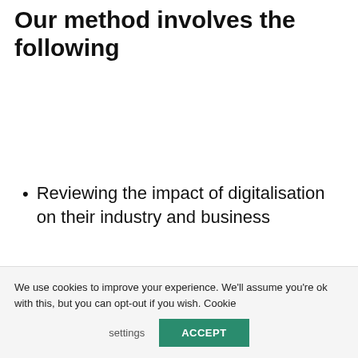Our method involves the following
Reviewing the impact of digitalisation on their industry and business
We use cookies to improve your experience. We'll assume you're ok with this, but you can opt-out if you wish. Cookie settings ACCEPT